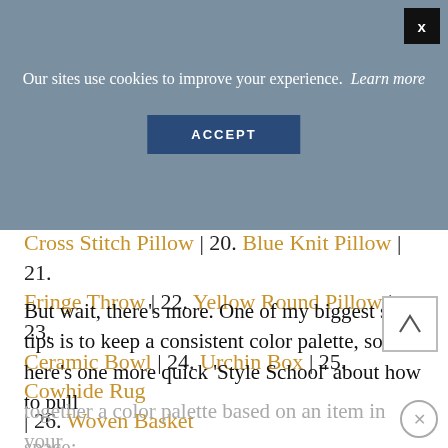Our sites use cookies to improve your experience.  Learn more
ACCEPT
Cross Stitch Pillow | 20. Blue Knit Pillow | 21. Fringe Throw | 22. Yellow Round Pillow | 23. Ceramic Bowl | 24. Urchin Box | 25. Cowhide Rug | 26. Woven Basket
But wait, there’s more. One of my biggest style tips is to keep a consistent color palette, so here’s one more quick ‘Style School’ about how to pull together a color palette based on an item in your space: